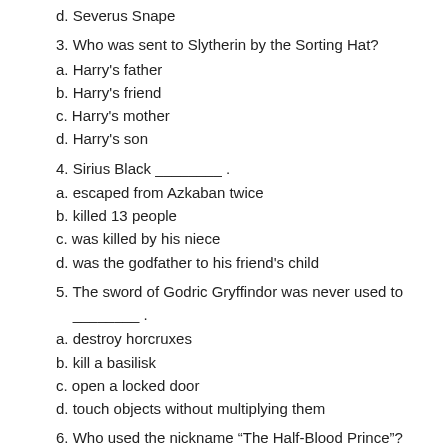d. Severus Snape
3. Who was sent to Slytherin by the Sorting Hat?
a. Harry's father
b. Harry's friend
c. Harry's mother
d. Harry's son
4. Sirius Black ________ .
a. escaped from Azkaban twice
b. killed 13 people
c. was killed by his niece
d. was the godfather to his friend's child
5. The sword of Godric Gryffindor was never used to ________ .
a. destroy horcruxes
b. kill a basilisk
c. open a locked door
d. touch objects without multiplying them
6. Who used the nickname “The Half-Blood Prince”?
a. One of Harry's schoolmates.
b. One of Harry's teachers.